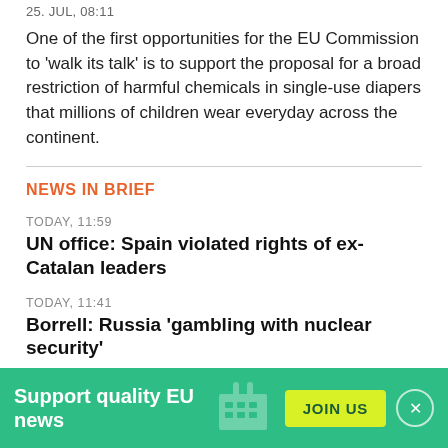25. JUL, 08:11
One of the first opportunities for the EU Commission to 'walk its talk' is to support the proposal for a broad restriction of harmful chemicals in single-use diapers that millions of children wear everyday across the continent.
NEWS IN BRIEF
TODAY, 11:59
UN office: Spain violated rights of ex-Catalan leaders
TODAY, 11:41
Borrell: Russia 'gambling with nuclear security'
TODAY, 11:38
Frontex: Greece needs 'enhanced monitoring' on asylum
Support quality EU news